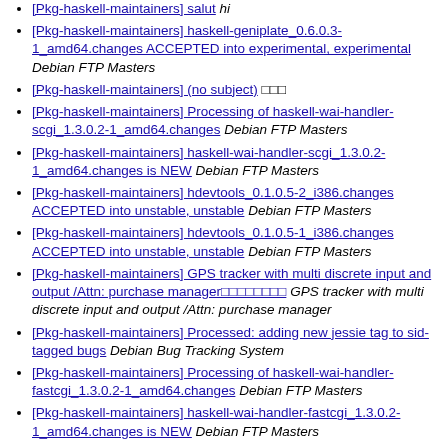[Pkg-haskell-maintainers] salut  hi
[Pkg-haskell-maintainers] haskell-geniplate_0.6.0.3-1_amd64.changes ACCEPTED into experimental, experimental   Debian FTP Masters
[Pkg-haskell-maintainers] (no subject)  □□□
[Pkg-haskell-maintainers] Processing of haskell-wai-handler-scgi_1.3.0.2-1_amd64.changes   Debian FTP Masters
[Pkg-haskell-maintainers] haskell-wai-handler-scgi_1.3.0.2-1_amd64.changes is NEW   Debian FTP Masters
[Pkg-haskell-maintainers] hdevtools_0.1.0.5-2_i386.changes ACCEPTED into unstable, unstable   Debian FTP Masters
[Pkg-haskell-maintainers] hdevtools_0.1.0.5-1_i386.changes ACCEPTED into unstable, unstable   Debian FTP Masters
[Pkg-haskell-maintainers] GPS tracker with multi discrete input and output /Attn: purchase manager□□□□□□□□   GPS tracker with multi discrete input and output /Attn: purchase manager
[Pkg-haskell-maintainers] Processed: adding new jessie tag to sid-tagged bugs   Debian Bug Tracking System
[Pkg-haskell-maintainers] Processing of haskell-wai-handler-fastcgi_1.3.0.2-1_amd64.changes   Debian FTP Masters
[Pkg-haskell-maintainers] haskell-wai-handler-fastcgi_1.3.0.2-1_amd64.changes is NEW   Debian FTP Masters